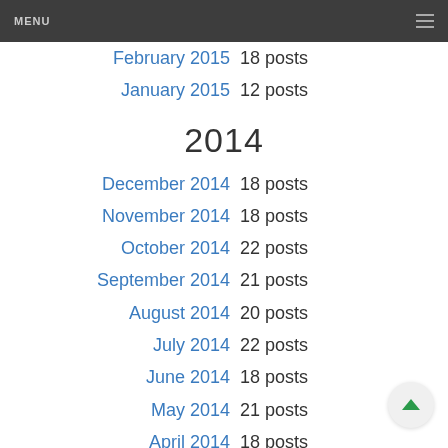MENU
February 2015  18 posts
January 2015  12 posts
2014
December 2014  18 posts
November 2014  18 posts
October 2014  22 posts
September 2014  21 posts
August 2014  20 posts
July 2014  22 posts
June 2014  18 posts
May 2014  21 posts
April 2014  18 posts
March 2014  16 posts (partial)